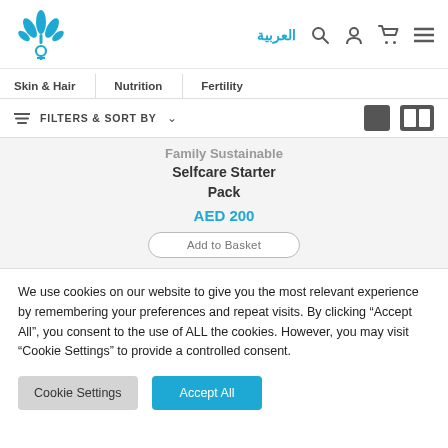Website header with logo, Arabic language link, search, account, basket, and menu icons
Skin & Hair   Nutrition   Fertility
FILTERS & SORT BY
Family Sustainable Selfcare Starter Pack
AED 200
Add to Basket
We use cookies on our website to give you the most relevant experience by remembering your preferences and repeat visits. By clicking "Accept All", you consent to the use of ALL the cookies. However, you may visit "Cookie Settings" to provide a controlled consent.
Cookie Settings   Accept All